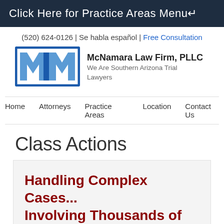Click Here for Practice Areas Menu↵
(520) 624-0126 | Se habla español | Free Consultation
[Figure (logo): McNamara Law Firm PLLC logo with MFM letters in blue]
McNamara Law Firm, PLLC
We Are Southern Arizona Trial Lawyers
Home   Attorneys   Practice Areas   Location   Contact Us
Class Actions
Handling Complex Cases... Involving Thousands of Plaintiffs